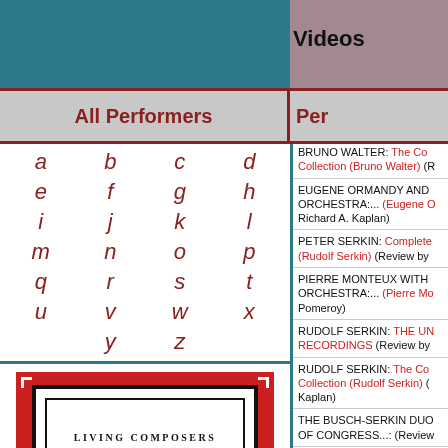Videos
All Performers
Per
a b c d e f g h i j k l m n o p q r s t u v w x y z
[Figure (illustration): Living Composers Listen Large logo - black and white text on red background with decorative border]
BRUNO WALTER: The Co Collection (Bruno Walter) (R
EUGENE ORMANDY AND ORCHESTRA:... (Eugene O Richard A. Kaplan)
PETER SERKIN: Complete (Rudolf Serkin) (Review by
PIERRE MONTEUX WITH ORCHESTRA:... (Pierre Mo Pomeroy)
RUDOLF SERKIN: THE UN RECORDINGS (Review by
RUDOLF SERKIN: The Co Collection (Rudolf Serkin) ( Kaplan)
THE BUSCH-SERKIN DUO OF CONGRESS...: (Review
THE GOLDEN AGE OF TH DOCUMENTARY ON... (Ch Peter J. Rabinowitz)
BACH, CARL PHILIPP EM